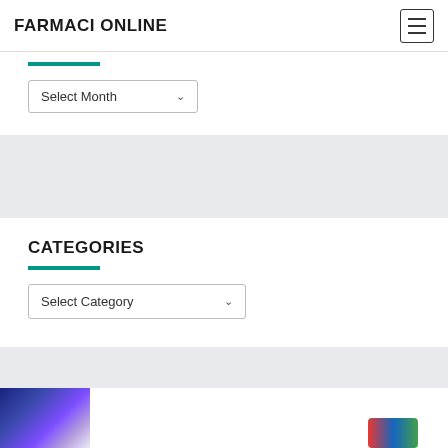FARMACI ONLINE
Select Month
CATEGORIES
Select Category
[Figure (photo): Partial view of medicine/pharmacy product images at the bottom of the page]